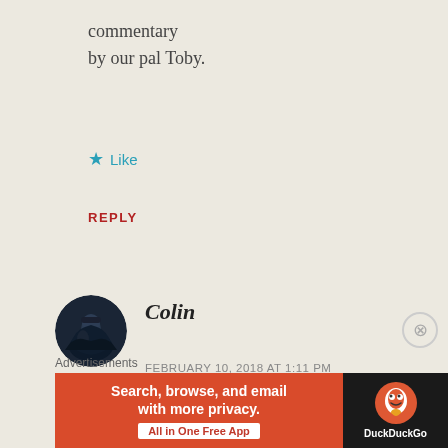commentary
by our pal Toby.
★ Like
REPLY
Colin
FEBRUARY 10, 2018 AT 1:11 PM
So much interesting stuff is popping up all the time – it's actually difficult to keep
[Figure (other): Advertisement banner for DuckDuckGo: orange left panel with text 'Search, browse, and email with more privacy. All in One Free App' and dark right panel with DuckDuckGo duck logo and 'DuckDuckGo' text]